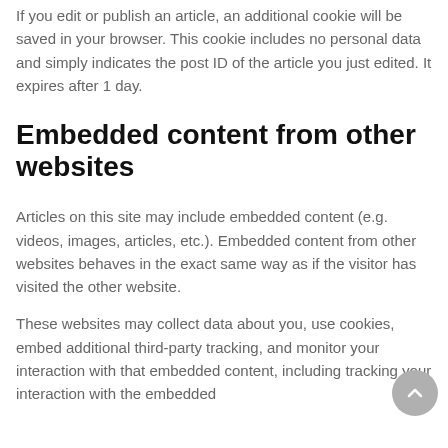If you edit or publish an article, an additional cookie will be saved in your browser. This cookie includes no personal data and simply indicates the post ID of the article you just edited. It expires after 1 day.
Embedded content from other websites
Articles on this site may include embedded content (e.g. videos, images, articles, etc.). Embedded content from other websites behaves in the exact same way as if the visitor has visited the other website.
These websites may collect data about you, use cookies, embed additional third-party tracking, and monitor your interaction with that embedded content, including tracking your interaction with the embedded